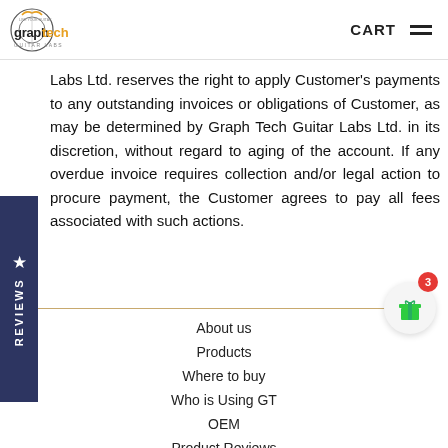Graph Tech Guitar Labs - CART
Labs Ltd. reserves the right to apply Customer's payments to any outstanding invoices or obligations of Customer, as may be determined by Graph Tech Guitar Labs Ltd. in its discretion, without regard to aging of the account. If any overdue invoice requires collection and/or legal action to procure payment, the Customer agrees to pay all fees associated with such actions.
About us
Products
Where to buy
Who is Using GT
OEM
Product Reviews